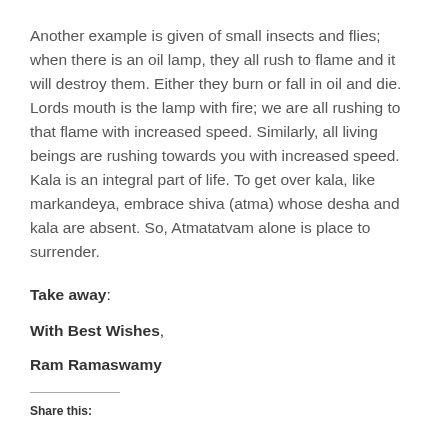Another example is given of small insects and flies; when there is an oil lamp, they all rush to flame and it will destroy them. Either they burn or fall in oil and die. Lords mouth is the lamp with fire; we are all rushing to that flame with increased speed. Similarly, all living beings are rushing towards you with increased speed. Kala is an integral part of life. To get over kala, like markandeya, embrace shiva (atma) whose desha and kala are absent. So, Atmatatvam alone is place to surrender.
Take away:
With Best Wishes,
Ram Ramaswamy
Share this: